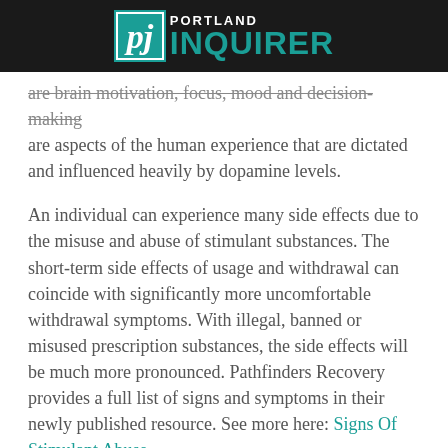Portland Inquirer
are brain motivation, focus, mood and decision-making are aspects of the human experience that are dictated and influenced heavily by dopamine levels.
An individual can experience many side effects due to the misuse and abuse of stimulant substances. The short-term side effects of usage and withdrawal can coincide with significantly more uncomfortable withdrawal symptoms. With illegal, banned or misused prescription substances, the side effects will be much more pronounced. Pathfinders Recovery provides a full list of signs and symptoms in their newly published resource. See more here: Signs Of Stimulant Abuse.